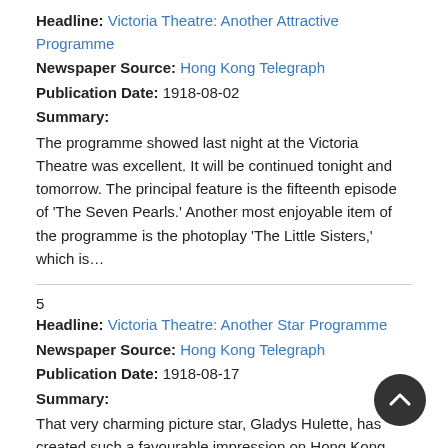Headline: Victoria Theatre: Another Attractive Programme
Newspaper Source: Hong Kong Telegraph
Publication Date: 1918-08-02
Summary:
The programme showed last night at the Victoria Theatre was excellent. It will be continued tonight and tomorrow. The principal feature is the fifteenth episode of 'The Seven Pearls.' Another most enjoyable item of the programme is the photoplay 'The Little Sisters,' which is…
5
Headline: Victoria Theatre: Another Star Programme
Newspaper Source: Hong Kong Telegraph
Publication Date: 1918-08-17
Summary:
That very charming picture star, Gladys Hulette, has created such a favourable impression on Hong Kong audiences for her versatility, exceptionally good acting and engaging charm, that any films in which she appears to make an instant appeal. The management of the Victoria Theatre has secured…